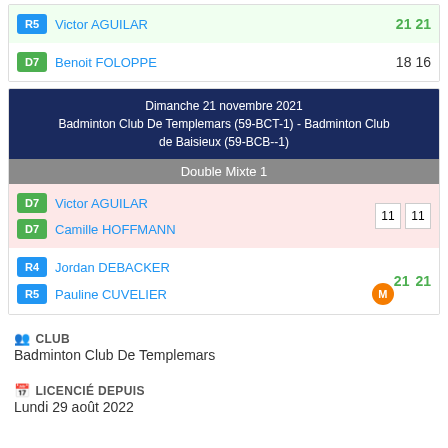| Badge | Player | Score1 | Score2 |
| --- | --- | --- | --- |
| R5 | Victor AGUILAR | 21 | 21 |
| D7 | Benoit FOLOPPE | 18 | 16 |
Dimanche 21 novembre 2021
Badminton Club De Templemars (59-BCT-1) - Badminton Club de Baisieux (59-BCB--1)
Double Mixte 1
| Badge | Player | Score1 | Score2 |
| --- | --- | --- | --- |
| D7 | Victor AGUILAR | 11 | 11 |
| D7 | Camille HOFFMANN |  |  |
| R4 | Jordan DEBACKER | 21 | 21 |
| R5 | Pauline CUVELIER |  |  |
CLUB
Badminton Club De Templemars
LICENCIÉ DEPUIS
Lundi 29 août 2022